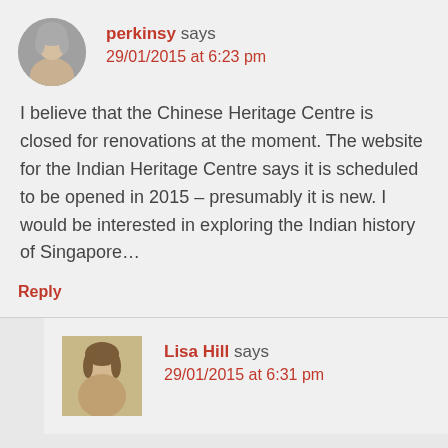[Figure (photo): Avatar photo of perkinsy - older woman with short grey hair]
perkinsy says
29/01/2015 at 6:23 pm
I believe that the Chinese Heritage Centre is closed for renovations at the moment. The website for the Indian Heritage Centre says it is scheduled to be opened in 2015 – presumably it is new. I would be interested in exploring the Indian history of Singapore...
Reply
[Figure (photo): Avatar photo of Lisa Hill - young girl, vintage sepia photo]
Lisa Hill says
29/01/2015 at 6:31 pm